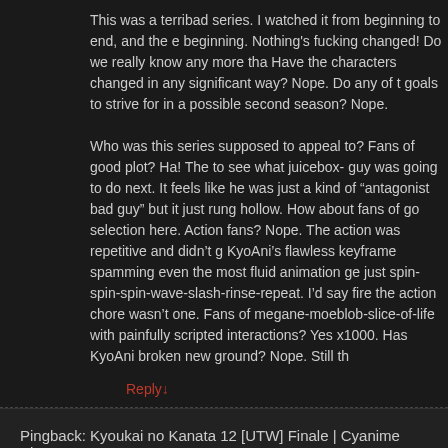This was a terribad series. I watched it from beginning to end, and the e beginning. Nothing's fucking changed! Do we really know any more tha Have the characters changed in any significant way? Nope. Do any of t goals to strive for in a possible second season? Nope. Who was this series supposed to appeal to? Fans of good plot? Ha! The to see what juicebox- guy was going to do next. It feels like he was just kind of “antagonist bad guy” but it just rung hollow. How about fans of g selection here. Action fans? Nope. The action was repetitive and didn’t g KyoAni’s flawless keyframe spamming even the most fluid animation ge just spin-spin-spin-wave-slash-rinse-repeat. I’d say fire the action chore wasn’t one. Fans of megane-moeblob-slice-of-life with painfully scripted interactions? Yes x1000. Has KyoAni broken new ground? Nope. Still th
Reply↓
Pingback: Kyoukai no Kanata 12 [UTW] Finale | Cyanime Blog
Tadashi on December 20, 2013 at 6:59 am said:
Thanks guys for your hard work! I always looked forward to your reliable week. Too bad that couldn’t help this ending out… lol. Looking forward t
Reply↓